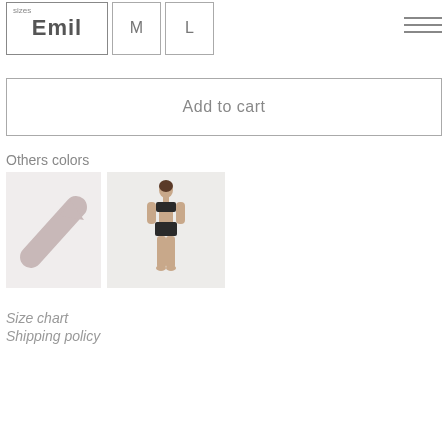sizes Emil M L
Add to cart
Others colors
[Figure (photo): A light pink/beige colored swatch thumbnail with a diagonal arrow or logo mark]
[Figure (photo): A model wearing dark bikini top and bottom, standing against light grey background]
Size chart
Shipping policy